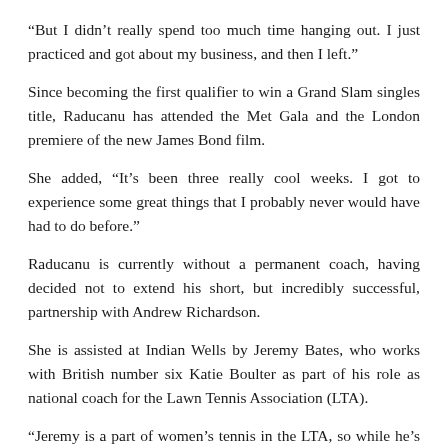“But I didn’t really spend too much time hanging out. I just practiced and got about my business, and then I left.”
Since becoming the first qualifier to win a Grand Slam singles title, Raducanu has attended the Met Gala and the London premiere of the new James Bond film.
She added, “It’s been three really cool weeks. I got to experience some great things that I probably never would have had to do before.”
Raducanu is currently without a permanent coach, having decided not to extend his short, but incredibly successful, partnership with Andrew Richardson.
She is assisted at Indian Wells by Jeremy Bates, who works with British number six Katie Boulter as part of his role as national coach for the Lawn Tennis Association (LTA).
“Jeremy is a part of women’s tennis in the LTA, so while he’s here he’s helping me,” Raducanu said.